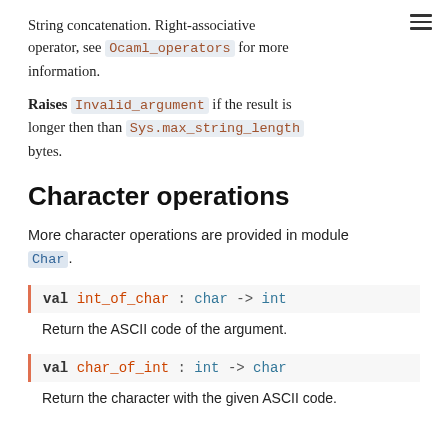String concatenation. Right-associative operator, see Ocaml_operators for more information.
Raises Invalid_argument if the result is longer then than Sys.max_string_length bytes.
Character operations
More character operations are provided in module Char.
val int_of_char : char -> int
Return the ASCII code of the argument.
val char_of_int : int -> char
Return the character with the given ASCII code.